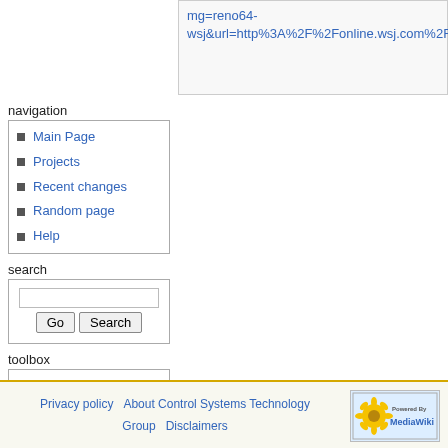mg=reno64-wsj&url=http%3A%2F%2Fonline.wsj.com%2Fartic
navigation
Main Page
Projects
Recent changes
Random page
Help
search
toolbox
What links here
Related changes
Special pages
Printable version
Permanent link
Privacy policy   About Control Systems Technology Group   Disclaimers